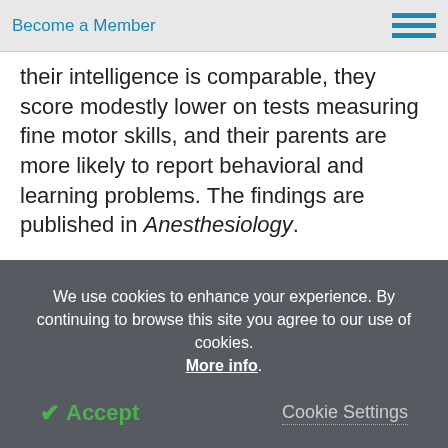Become a Member
their intelligence is comparable, they score modestly lower on tests measuring fine motor skills, and their parents are more likely to report behavioral and learning problems. The findings are published in Anesthesiology.
The U.S. Food and Drug Administration warned in 2016 that prolonged or repeated sedation before age 3 may affect brain development. The warning was based
We use cookies to enhance your experience. By continuing to browse this site you agree to our use of cookies. More info.
✔ Accept
Cookie Settings